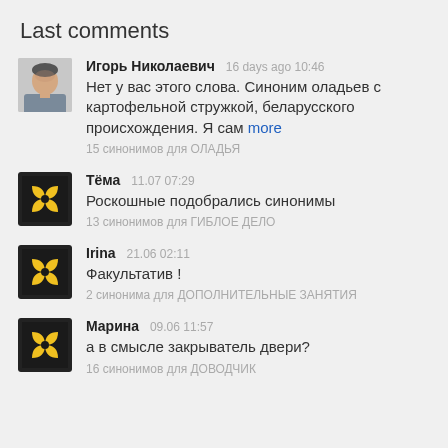Last comments
Игорь Николаевич  16 days ago 10:46
Нет у вас этого слова. Синоним оладьев с картофельной стружкой, беларусского происхождения. Я сам more
15 синонимов для ОЛАДЬЯ
Тёма  11.07 07:29
Роскошные подобрались синонимы
13 синонимов для ГИБЛОЕ ДЕЛО
Irina  21.06 02:11
Факультатив !
2 синонима для ДОПОЛНИТЕЛЬНЫЕ ЗАНЯТИЯ
Марина  09.06 11:57
а в смысле закрыватель двери?
16 синонимов для ДОВОДЧИК